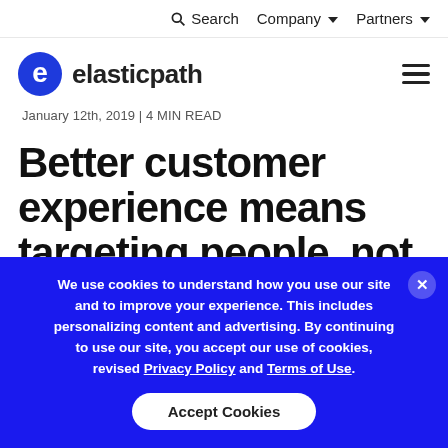Search  Company  Partners
[Figure (logo): Elastic Path logo: blue 'e' icon with shopping cart arrows and text 'elasticpath']
January 12th, 2019 | 4 MIN READ
Better customer experience means targeting people, not
We use cookies to understand how you use our site and to improve your experience. This includes personalizing content and advertising. By continuing to use our site, you accept our use of cookies, revised Privacy Policy and Terms of Use.
Accept Cookies